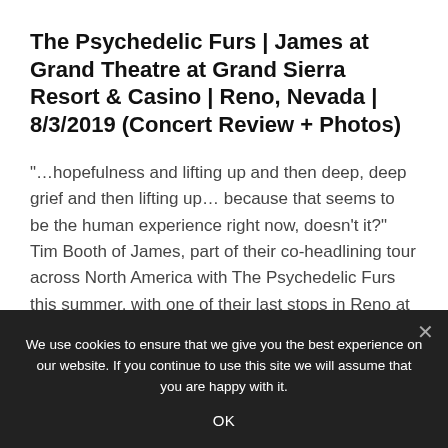The Psychedelic Furs | James at Grand Theatre at Grand Sierra Resort & Casino | Reno, Nevada | 8/3/2019 (Concert Review + Photos)
"…hopefulness and lifting up and then deep, deep grief and then lifting up… because that seems to be the human experience right now, doesn't it?"  Tim Booth of James, part of their co-headlining tour across North America with The Psychedelic Furs this summer, with one of their last stops in Reno at the Grand Theatre […]
We use cookies to ensure that we give you the best experience on our website. If you continue to use this site we will assume that you are happy with it.
OK